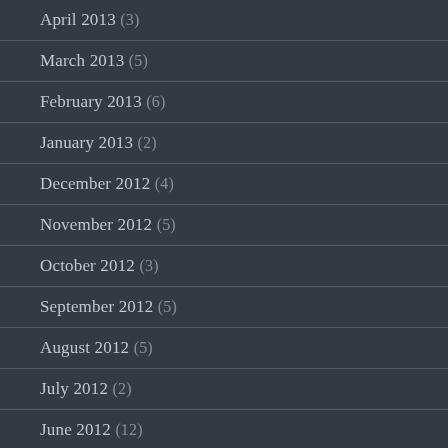April 2013 (3)
March 2013 (5)
February 2013 (6)
January 2013 (2)
December 2012 (4)
November 2012 (5)
October 2012 (3)
September 2012 (5)
August 2012 (5)
July 2012 (2)
June 2012 (12)